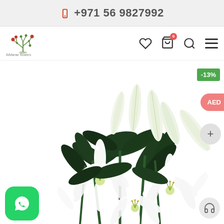+971 56 9827992
[Figure (logo): AlManar Flowers logo with stylized plant/flower design in green and red]
[Figure (photo): Bouquet of white oriental lilies with green leaves on white background, showing blooming and budding flowers]
-13%
AED
+
[Figure (logo): WhatsApp button - green rounded square with white WhatsApp icon]
[Figure (other): Customer support headset icon button]